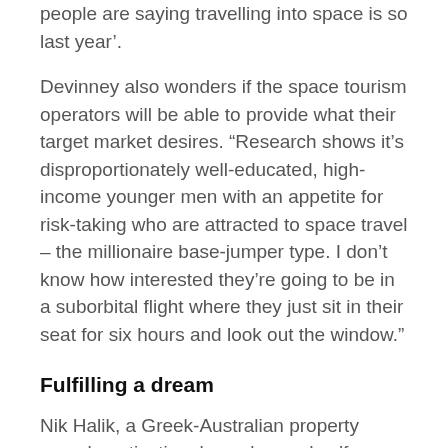people are saying travelling into space is so last year’.
Devinney also wonders if the space tourism operators will be able to provide what their target market desires. “Research shows it’s disproportionately well-educated, high-income younger men with an appetite for risk-taking who are attracted to space travel – the millionaire base-jumper type. I don’t know how interested they’re going to be in a suborbital flight where they just sit in their seat for six hours and look out the window.”
Fulfilling a dream
Nik Halik, a Greek-Australian property mogul, motivational speaker and self-described ‘thrillionaire’, is happy to abide by any rules and pay almost any price to fulfil his childhood dream of being an